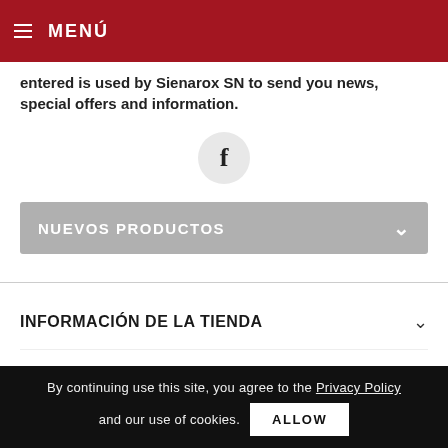MENÚ
entered is used by Sienarox SN to send you news, special offers and information.
[Figure (illustration): Facebook icon in a light grey circle]
NUEVOS PRODUCTOS
INFORMACIÓN DE LA TIENDA
PRODUCTOS
By continuing use this site, you agree to the Privacy Policy and our use of cookies. ALLOW